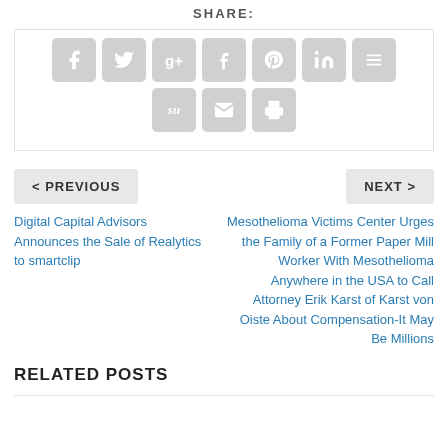SHARE:
[Figure (infographic): Social share buttons: Facebook, Twitter, Google+, Tumblr, Pinterest, LinkedIn, Buffer, StumbleUpon, Email, Print]
< PREVIOUS
NEXT >
Digital Capital Advisors Announces the Sale of Realytics to smartclip
Mesothelioma Victims Center Urges the Family of a Former Paper Mill Worker With Mesothelioma Anywhere in the USA to Call Attorney Erik Karst of Karst von Oiste About Compensation-It May Be Millions
RELATED POSTS